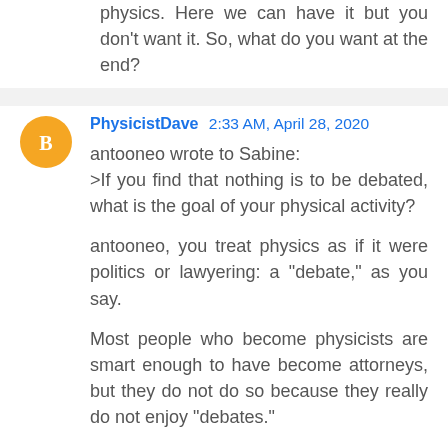physics. Here we can have it but you don't want it. So, what do you want at the end?
PhysicistDave 2:33 AM, April 28, 2020
antooneo wrote to Sabine:
>If you find that nothing is to be debated, what is the goal of your physical activity?

antooneo, you treat physics as if it were politics or lawyering: a "debate," as you say.

Most people who become physicists are smart enough to have become attorneys, but they do not do so because they really do not enjoy "debates."

Physicists tend to be people who like clean, clear-cut answers, not debates.

For example, you keep saying things such as:
>Example relativity: Lorentz discussed a thought